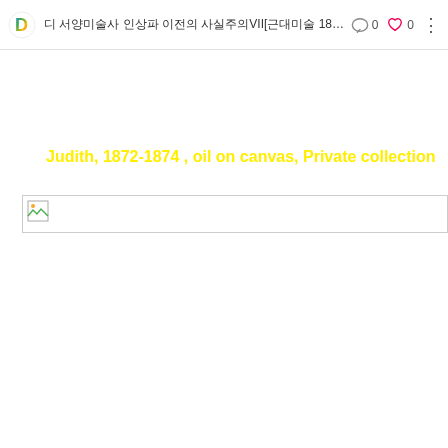디 서양미술사 인상파 이전의 사실주의VII[근대미술 1860~1874...  0  0
Judith,  1872-1874 , oil on canvas, Private collection
[Figure (photo): Partially loaded image placeholder for artwork Judith 1872-1874]